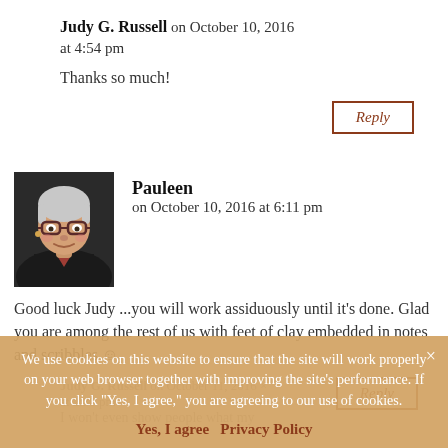Judy G. Russell on October 10, 2016 at 4:54 pm
Thanks so much!
Reply
[Figure (photo): Profile photo of Pauleen, a woman with glasses and grey hair]
Pauleen on October 10, 2016 at 6:11 pm
Good luck Judy ...you will work assiduously until it's done. Glad you are among the rest of us with feet of clay embedded in notes and scribbles ☺
Reply
Judy G. Russell on October 11, 2016 at 2:30 pm
I won't even show people what my
We use cookies on this website to ensure that the site will work properly on your web browser together with improving the site's performance. If you click "Yes, I agree," you are agreeing to our use of cookies.
Yes, I agree   Privacy Policy